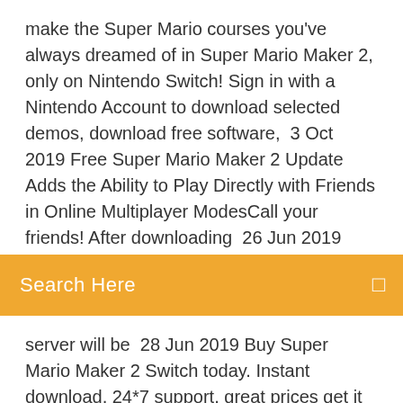make the Super Mario courses you've always dreamed of in Super Mario Maker 2, only on Nintendo Switch! Sign in with a Nintendo Account to download selected demos, download free software,  3 Oct 2019 Free Super Mario Maker 2 Update Adds the Ability to Play Directly with Friends in Online Multiplayer ModesCall your friends! After downloading  26 Jun 2019
Search Here
server will be  28 Jun 2019 Buy Super Mario Maker 2 Switch today. Instant download, 24*7 support, great prices get it on cdkeys.com. Are you a fan of Super Mario? Did you ever wished to create your own level? Then the answer to your wish had come true in Super Mario Maker Online!
Описание игры: Super Mario Maker 2 (Nintendo Switch) – вторая часть нашумевшей игры выходит на Нинтендо Свич в июне года! Предзакаказ можно уже сегодня!. Купить Switch игра Nintendo Super Mario Дракон принцессы Пик в